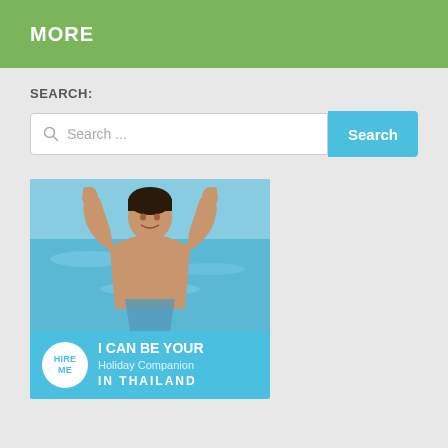MORE
SEARCH:
[Figure (screenshot): Search bar with magnifying glass icon showing placeholder text 'Search ...' and a blue 'Search' button]
[Figure (photo): Advertisement image showing a young man at the beach giving thumbs up, with a blue banner below reading 'HIRE ME - I CAN BE YOUR Holiday Companion IN THAILAND']